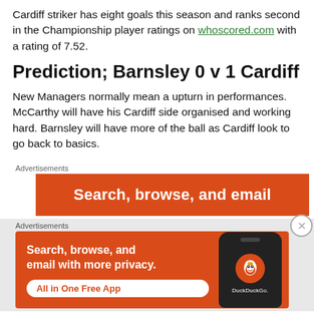Cardiff striker has eight goals this season and ranks second in the Championship player ratings on whoscored.com with a rating of 7.52.
Prediction; Barnsley 0 v 1 Cardiff
New Managers normally mean a upturn in performances. McCarthy will have his Cardiff side organised and working hard. Barnsley will have more of the ball as Cardiff look to go back to basics.
[Figure (screenshot): DuckDuckGo advertisement banner showing 'Search, browse, and email' text on orange background]
[Figure (screenshot): DuckDuckGo advertisement showing 'Search, browse, and email with more privacy. All in One Free App' with phone graphic and DuckDuckGo logo on orange background]